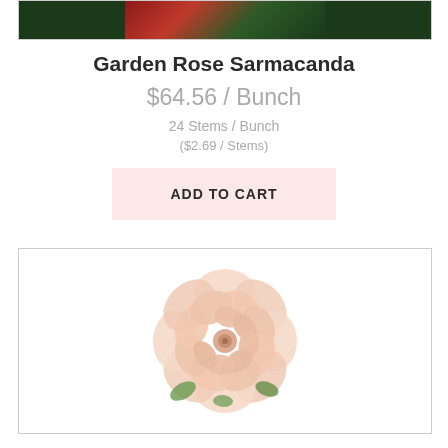[Figure (photo): Top portion of a garden rose product image showing red flowers and green foliage]
Garden Rose Sarmacanda
$64.56 / Bunch
24 Stems / Bunch
($2.69 / Stems)
ADD TO CART
[Figure (photo): Close-up photo of a single pale pink/peach garden rose bloom (Sarmacanda variety) seen from above, showing spiral petal arrangement, on white background]